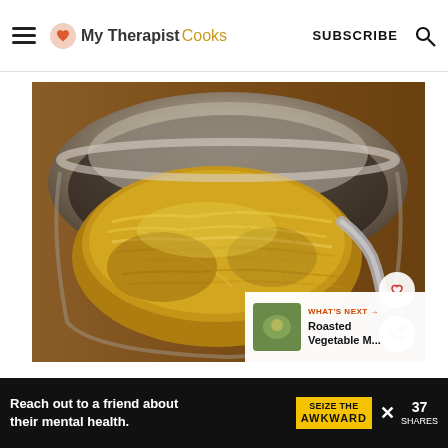My Therapist Cooks — SUBSCRIBE
[Figure (photo): A large stainless steel mixing bowl filled with shredded spaghetti squash, golden-yellow strands, with a metal spoon visible on the right side. Wooden cutting board visible in background.]
WHAT'S NEXT → Roasted Vegetable M...
Reach out to a friend about their mental health. SEIZE THE AWKWARD